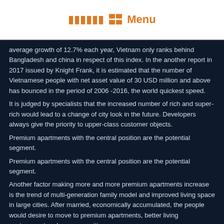Menu
average growth of 12.7% each year, Vietnam only ranks behind Bangladesh and china in respect of this index. In the another report in 2017 issued by Knight Frank, it is estimated that the number of Vietnamese people with net asset value of 30 USD million and above has bounced in the period of 2006 -2016, the world quickest speed.
It is judged by specialists that the increased number of rich and super-rich would lead to a change of city look in the future. Developers always give the priority to upper-class customer objects.
Premium apartments with the central position are the potential segment.
Premium apartments with the central position are the potential segment.
Another factor making more and more premium apartments increase is the trend of multi-generation family model and improved living space in large cities. After married, economically accumulated, the people would desire to move to premium apartments, better living environment and more amenities.